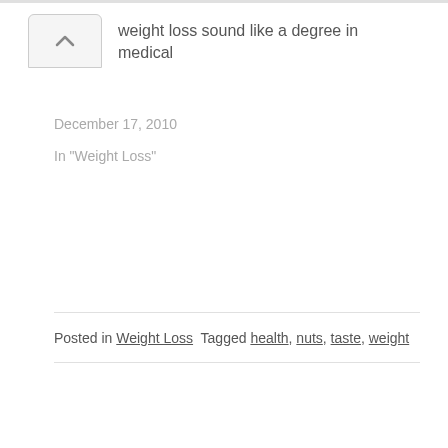weight loss sound like a degree in medical
December 17, 2010
In "Weight Loss"
Posted in Weight Loss  Tagged health, nuts, taste, weight